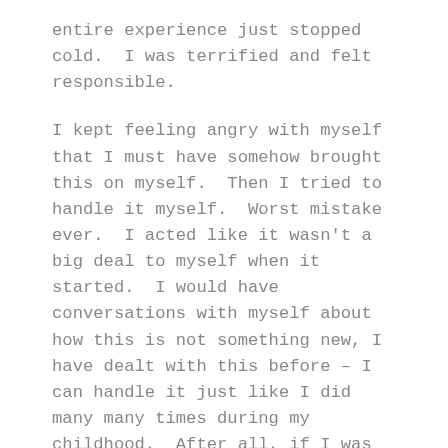entire experience just stopped cold.  I was terrified and felt responsible.
I kept feeling angry with myself that I must have somehow brought this on myself.  Then I tried to handle it myself.  Worst mistake ever.  I acted like it wasn't a big deal to myself when it started.  I would have conversations with myself about how this is not something new, I have dealt with this before – I can handle it just like I did many many times during my childhood.  After all, if I was able to handle violent rapes as a young child – surely I could handle AND move on from what was happening now.  I'm the girl that can survive anything, I've proved it time and time again.  I felt ashamed.  I felt afraid.  I was embarrassed that I handled it poorly too...